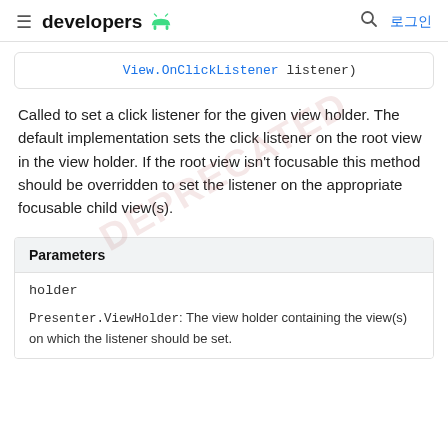developers [android icon] | 로그인
View.OnClickListener listener)
Called to set a click listener for the given view holder. The default implementation sets the click listener on the root view in the view holder. If the root view isn't focusable this method should be overridden to set the listener on the appropriate focusable child view(s).
| Parameters |
| --- |
| holder | Presenter.ViewHolder: The view holder containing the view(s) on which the listener should be set. |